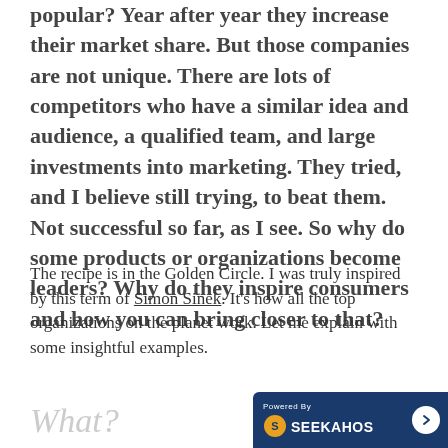popular? Year after year they increase their market share. But those companies are not unique. There are lots of competitors who have a similar idea and audience, a qualified team, and large investments into marketing. They tried, and I believe still trying, to beat them. Not successful so far, as I see. So why do some products or organizations become leaders? Why do they inspire consumers and how you can bring closer to that?
The recipe is in the Golden Circle. I was truly inspired by this term of Simon Sinek. It's how all the top organizations on the planet work. Let me explain with some insightful examples.
What?
[Figure (logo): SeekaHost logo badge with text 'Powered By SEEKAHOST' and a circular arrow button]